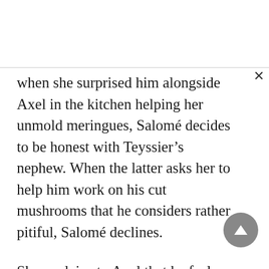when she surprised him alongside Axel in the kitchen helping her unmold meringues, Salomé decides to be honest with Teyssier's nephew. When the latter asks her to help him work on his cut mushrooms that he considers rather pitiful, Salomé declines.
She explains to Axel that he feels uncomfortable with Jasmine, who clearly has feelings for him. After the scene of the day before, she sees herself reluctantly accepting to spend time with him again, at the risk of triggering her wrath.
Caught off guard, Axel admits to having suspected